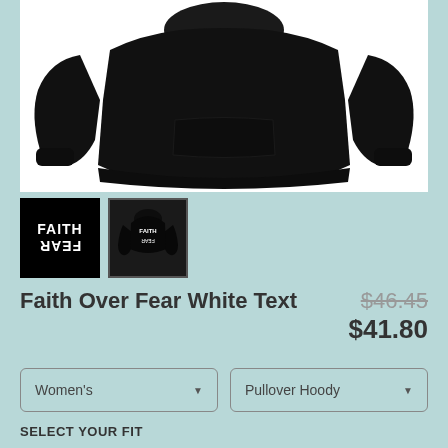[Figure (photo): Black pullover hoodie sweatshirt on white background, product photo showing front view of the hoodie laid flat]
[Figure (photo): Thumbnail 1: Black square showing FAITH text and mirrored/upside-down FEAR text in white on black background]
[Figure (photo): Thumbnail 2: Dark hoodie with FAITH FEAR text on front, product thumbnail with grey border]
Faith Over Fear White Text
$46.45 $41.80
Women's
Pullover Hoody
SELECT YOUR FIT